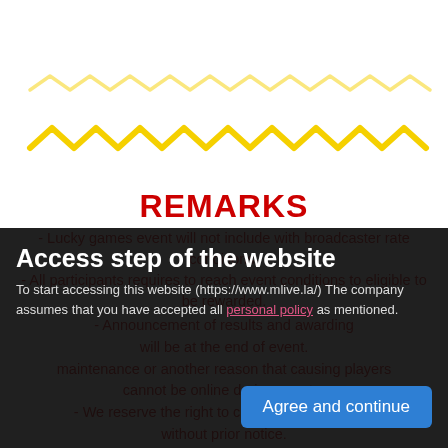[Figure (illustration): Yellow zigzag/wavy decorative line across the upper portion of the page]
REMARKS
- Lucky games event will not include with broadcaster rate conditions.
- All participants requires to reach event conditions to eligible to be rewarded.
- Announcement of results and awarding will be at the end of event.
- maintenance or another reason that causing players cannot be online during event...
- We reserve the right to change the conditions without prior notice.
- The staff's decision is final.
Access step of the website
To start accessing this website (https://www.mlive.la/) The company assumes that you have accepted all personal policy as mentioned.
Agree and continue